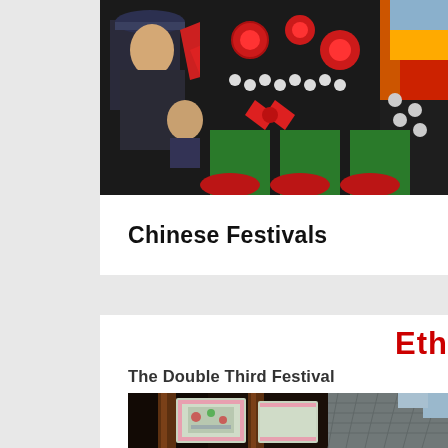[Figure (photo): Photo of Chinese festival performers in traditional colorful costumes with red and green decorations, silver ornaments, and a police officer visible in the background]
Chinese Festivals
Eth…
The Double Third Festival
[Figure (photo): Photo of traditional Chinese architecture with wooden poles and hanging banners/scrolls with decorative embroidery, dark tiled roof visible in background]